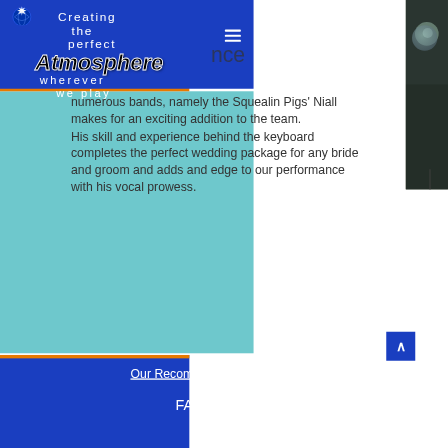Creating the perfect Atmosphere wherever we play
numerous bands, namely the Squealin Pigs'  Niall makes for an exciting addition to the team.
His skill and experience behind the keyboard completes the perfect wedding package for any bride and groom and adds and edge to our performance with his vocal prowess.
Our Recommendations
FAQs